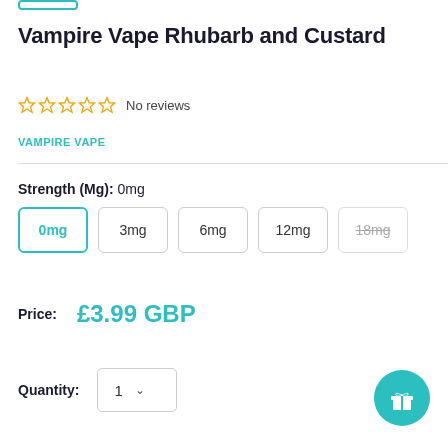Vampire Vape Rhubarb and Custard
☆☆☆☆☆ No reviews
VAMPIRE VAPE
Strength (Mg): 0mg
0mg | 3mg | 6mg | 12mg | 18mg
Price: £3.99 GBP
Quantity: 1